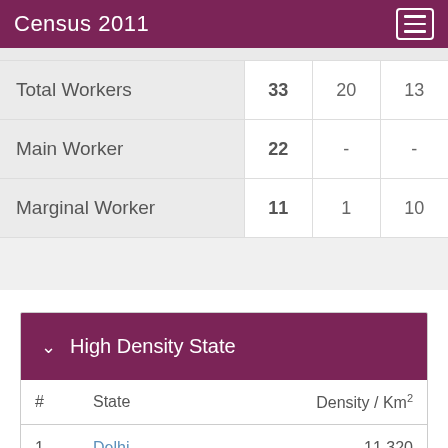Census 2011
|  |  |  |  |
| --- | --- | --- | --- |
| Total Workers | 33 | 20 | 13 |
| Main Worker | 22 | - | - |
| Marginal Worker | 11 | 1 | 10 |
High Density State
| # | State | Density / Km² |
| --- | --- | --- |
| 1 | Delhi | 11,320 |
| 2 | Chandigarh |  |